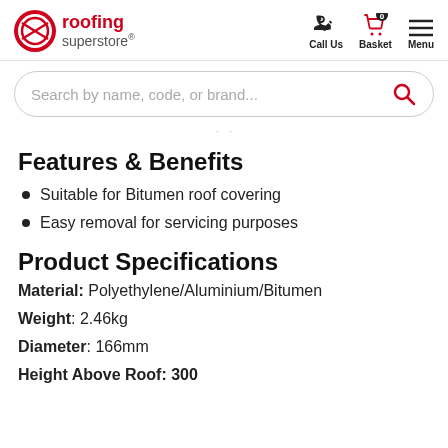roofing superstore® | Call Us | Basket 0 | Menu
[Figure (screenshot): Search bar with placeholder text 'Search by name, code, or brand...' and red search icon]
· ·
Features & Benefits
Suitable for Bitumen roof covering
Easy removal for servicing purposes
Product Specifications
Material: Polyethylene/Aluminium/Bitumen
Weight: 2.46kg
Diameter: 166mm
Height Above Roof: 300